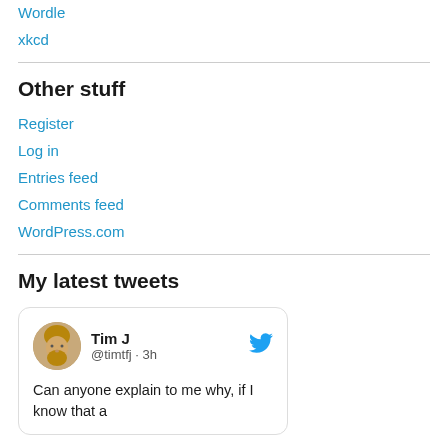Wordle
xkcd
Other stuff
Register
Log in
Entries feed
Comments feed
WordPress.com
My latest tweets
[Figure (screenshot): Tweet card from Tim J (@timtfj · 3h) with Twitter bird icon and profile photo of a bearded man. Tweet text reads: Can anyone explain to me why, if I know that a]
Can anyone explain to me why, if I know that a